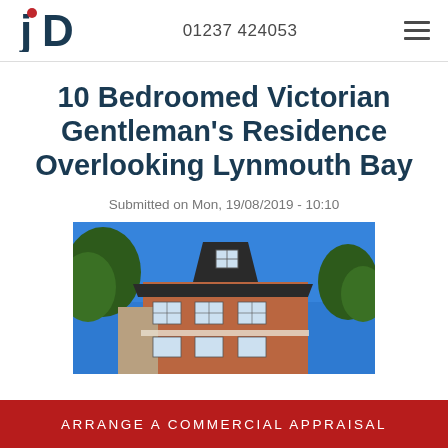JD | 01237 424053
10 Bedroomed Victorian Gentleman's Residence Overlooking Lynmouth Bay
Submitted on Mon, 19/08/2019 - 10:10
[Figure (photo): Victorian red-brick multi-storey residential building with dormer windows photographed from below against a clear blue sky, with surrounding trees visible]
ARRANGE A COMMERCIAL APPRAISAL